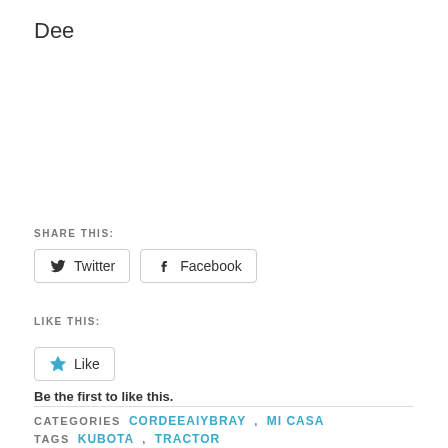Dee
SHARE THIS:
Twitter  Facebook
LIKE THIS:
Like
Be the first to like this.
CATEGORIES  CORDEEAIYBRAY, MI CASA
TAGS  KUBOTA, TRACTOR